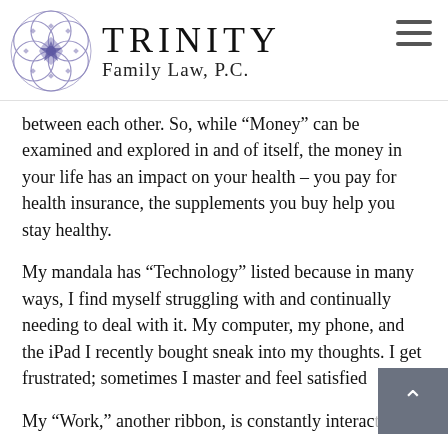[Figure (logo): Trinity Family Law PC logo — circular mandala/geometric flower design in purple/lavender tones]
TRINITY Family Law, P.C.
between each other. So, while “Money” can be examined and explored in and of itself, the money in your life has an impact on your health – you pay for health insurance, the supplements you buy help you stay healthy.
My mandala has “Technology” listed because in many ways, I find myself struggling with and continually needing to deal with it. My computer, my phone, and the iPad I recently bought sneak into my thoughts. I get frustrated; sometimes I master and feel satisfied
My “Work,” another ribbon, is constantly interacting